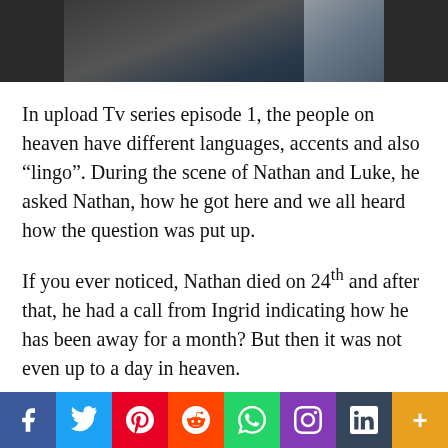[Figure (photo): A person photographed from shoulders up, dark background with a computer screen visible on the right side.]
In upload Tv series episode 1, the people on heaven have different languages, accents and also “lingo”. During the scene of Nathan and Luke, he asked Nathan, how he got here and we all heard how the question was put up.
If you ever noticed, Nathan died on 24th and after that, he had a call from Ingrid indicating how he has been away for a month? But then it was not even up to a day in heaven.
Could it be that in heaven, on the part of
f  🐦  p  reddit  WhatsApp  Instagram  t  +